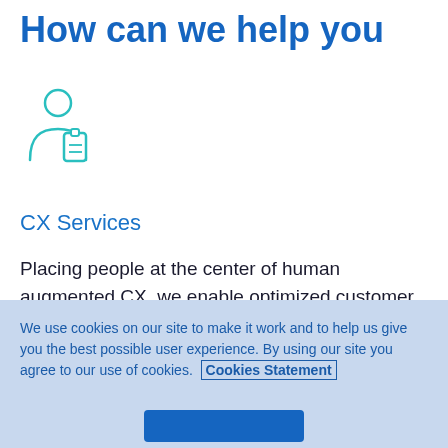How can we help you
[Figure (illustration): Teal outline icon of a person with an ID badge/card]
CX Services
Placing people at the center of human augmented CX, we enable optimized customer journeys, customer choice and use automation to create meaningful experiences.
We use cookies on our site to make it work and to help us give you the best possible user experience. By using our site you agree to our use of cookies.  Cookies Statement